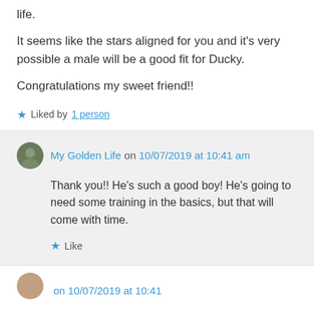life.
It seems like the stars aligned for you and it's very possible a male will be a good fit for Ducky.
Congratulations my sweet friend!!
Liked by 1 person
My Golden Life on 10/07/2019 at 10:41 am
Thank you!! He’s such a good boy! He’s going to need some training in the basics, but that will come with time.
Like